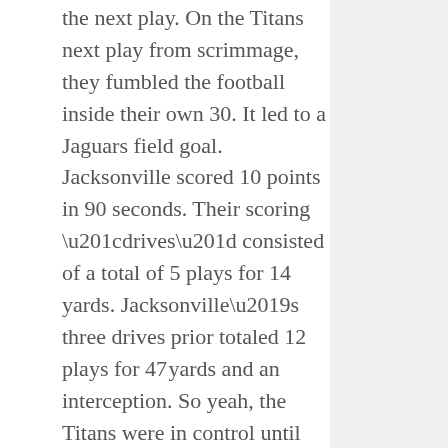the next play. On the Titans next play from scrimmage, they fumbled the football inside their own 30. It led to a Jaguars field goal. Jacksonville scored 10 points in 90 seconds. Their scoring “drives” consisted of a total of 5 plays for 14 yards. Jacksonville’s three drives prior totaled 12 plays for 47 yards and an interception. So yeah, the Titans were in control until their special teams and 3rd string tight end failed them. The AFC South, everyone.
EARLY GAMES (1:00PM ET)
Raiders at Lions
I don’t trust the Raiders like I did three